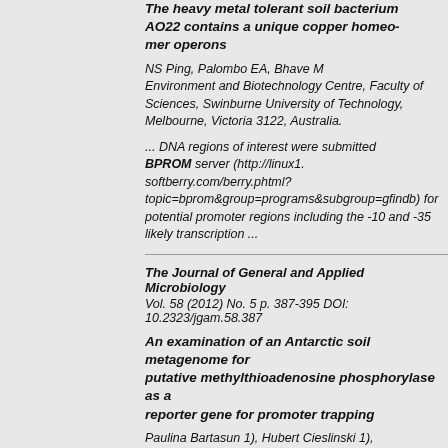The heavy metal tolerant soil bacterium AO22 contains a unique copper homeostasis mer operons
NS Ping, Palombo EA, Bhave M Environment and Biotechnology Centre, Faculty of Sciences, Swinburne University of Technology, Melbourne, Victoria 3122, Australia.
... DNA regions of interest were submitted to the BPROM server (http://linux1. softberry.com/berry.phtml? topic=bprom&group=programs&subgroup=gfindb) for potential promoter regions including the -10 and -35 likely transcription ...
The Journal of General and Applied Microbiology
Vol. 58 (2012) No. 5 p. 387-395 DOI: 10.2323/jgam.58.387
An examination of an Antarctic soil metagenome for putative methylthioadenosine phosphorylase as a reporter gene for promoter trapping
Paulina Bartasun 1), Hubert Cieslinski 1), 1) Department of Microbiology, Chemical Faculty, Gdansk University of Technology
... BProm has about 80% accuracy in E. coli as was described at its website. The received data is accessible from the website (http://linux1. softberry. com/berry.phtml?topic=bprom&...